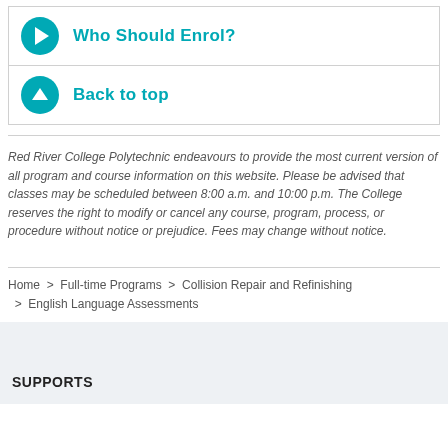Who Should Enrol?
Back to top
Red River College Polytechnic endeavours to provide the most current version of all program and course information on this website. Please be advised that classes may be scheduled between 8:00 a.m. and 10:00 p.m. The College reserves the right to modify or cancel any course, program, process, or procedure without notice or prejudice. Fees may change without notice.
Home > Full-time Programs > Collision Repair and Refinishing > English Language Assessments
SUPPORTS